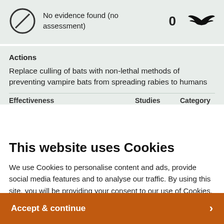No evidence found (no assessment)   0
Actions
Replace culling of bats with non-lethal methods of preventing vampire bats from spreading rabies to humans
Effectiveness   Studies   Category
This website uses Cookies
We use Cookies to personalise content and ads, provide social media features and to analyse our traffic. By using this site, you will be providing your consent to our use of Cookies.
Accept & continue